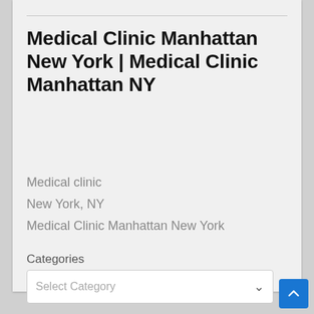Medical Clinic Manhattan New York | Medical Clinic Manhattan NY
Medical clinic
New York, NY
Medical Clinic Manhattan New York
Categories
Select Category